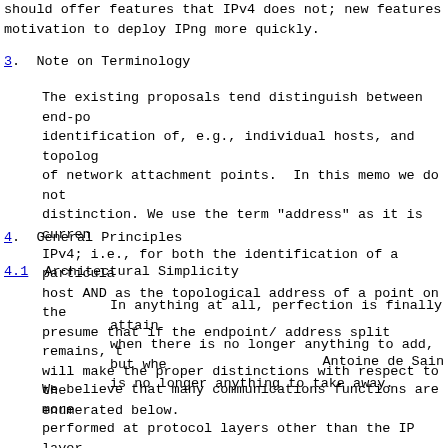should offer features that IPv4 does not; new features motivation to deploy IPng more quickly.
3. Note on Terminology
The existing proposals tend distinguish between end-po identification of, e.g., individual hosts, and topolog of network attachment points.  In this memo we do not distinction. We use the term "address" as it is curren IPv4; i.e., for both the identification of a particula host AND as the topological address of a point on the presume that if the endpoint/ address split remains, t will make the proper distinctions with respect to the enumerated below.
4. General Principles
4.1 Architectural Simplicity
In anything at all, perfection is finally attain when there is no longer anything to add, but whe is no longer anything to take away.
Antoine de Sain
We believe that many communications functions are more performed at protocol layers other than the IP layer. protocol stacks as hourglass-shaped, with IPng in the waist, of the hourglass.  As such, essentially all hi protocols make use of and rely upon IPng.  Similarly